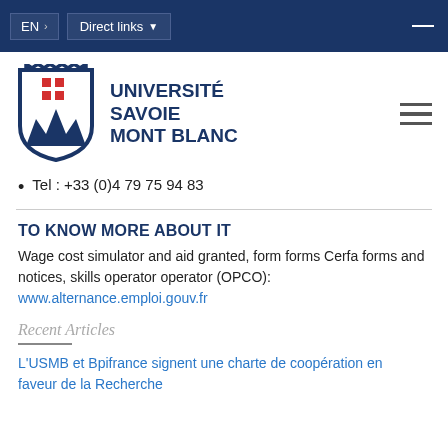EN  >   Direct links ▼
[Figure (logo): Université Savoie Mont Blanc crest and wordmark logo]
Tel : +33 (0)4 79 75 94 83
TO KNOW MORE ABOUT IT
Wage cost simulator and aid granted, form forms Cerfa forms and notices, skills operator operator (OPCO): www.alternance.emploi.gouv.fr
Recent Articles
L'USMB et Bpifrance signent une charte de coopération en faveur de la Recherche